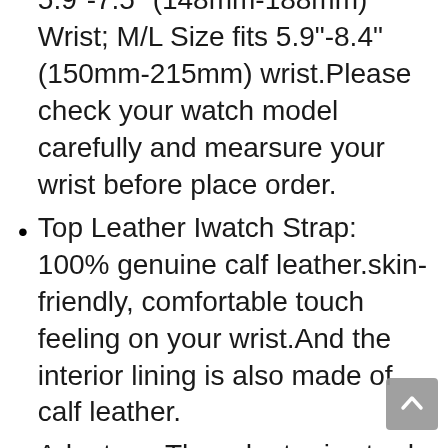5.9"-7.5" (148mm–188mm) Wrist; M/L Size fits 5.9"-8.4" (150mm-215mm) wrist.Please check your watch model carefully and mearsure your wrist before place order.
Top Leather Iwatch Strap: 100% genuine calf leather.skin-friendly, comfortable touch feeling on your wrist.And the interior lining is also made of calf leather.
Adapters: The adapter is sturdy enough for daily abrasion, we updated a more advanced and durable version, super easy to install and you dont need to worry about the